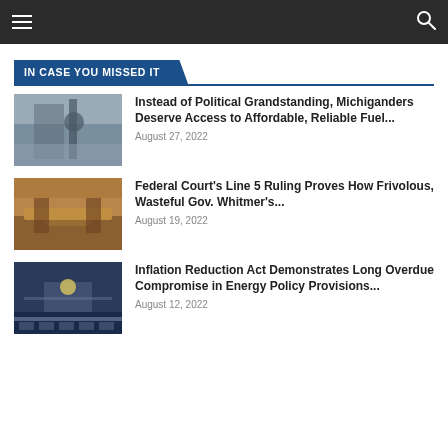IN CASE YOU MISSED IT
Instead of Political Grandstanding, Michiganders Deserve Access to Affordable, Reliable Fuel... August 27, 2022
Federal Court's Line 5 Ruling Proves How Frivolous, Wasteful Gov. Whitmer's... August 19, 2022
Inflation Reduction Act Demonstrates Long Overdue Compromise in Energy Policy Provisions... August 12, 2022